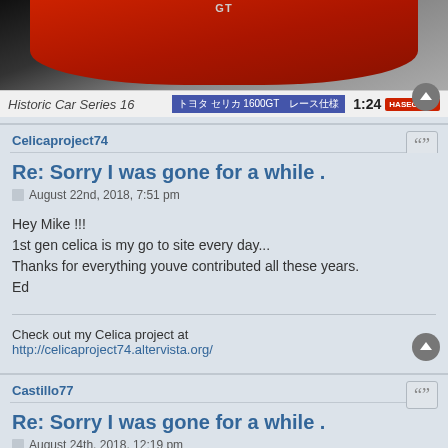[Figure (photo): Model car box art showing a red Toyota Celica 1600GT race car. Text reads 'Historic Car Series 16' on the left, Japanese text and '1:24' scale on the right, with Hasegawa logo.]
Celicaproject74
Re: Sorry I was gone for a while .
August 22nd, 2018, 7:51 pm
Hey Mike !!!
1st gen celica is my go to site every day...
Thanks for everything youve contributed all these years.
Ed
Check out my Celica project at
http://celicaproject74.altervista.org/
Castillo77
Re: Sorry I was gone for a while .
August 24th, 2018, 12:19 pm